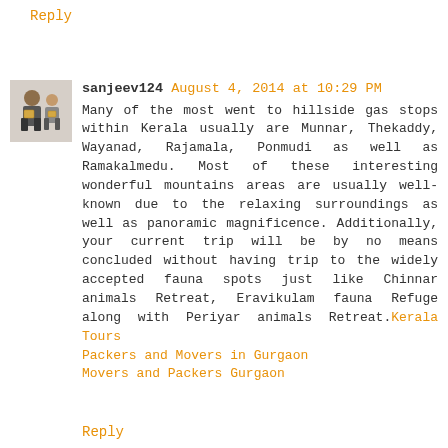Reply
sanjeev124 August 4, 2014 at 10:29 PM
[Figure (photo): Avatar photo of a person holding boxes]
Many of the most went to hillside gas stops within Kerala usually are Munnar, Thekaddy, Wayanad, Rajamala, Ponmudi as well as Ramakalmedu. Most of these interesting wonderful mountains areas are usually well-known due to the relaxing surroundings as well as panoramic magnificence. Additionally, your current trip will be by no means concluded without having trip to the widely accepted fauna spots just like Chinnar animals Retreat, Eravikulam fauna Refuge along with Periyar animals Retreat.Kerala Tours
Packers and Movers in Gurgaon
Movers and Packers Gurgaon
Reply